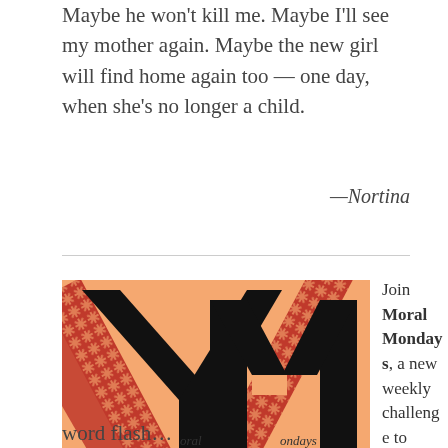Maybe he won't kill me. Maybe I'll see my mother again. Maybe the new girl will find home again too — one day, when she's no longer a child.
—Nortina
[Figure (logo): Moral Mondays logo: large black YM letters on an orange background with red decorative border strips, with cursive text 'oral' and 'ondays' beneath the letters]
Join Moral Mondays, a new weekly challenge to write a 100-
word flash…